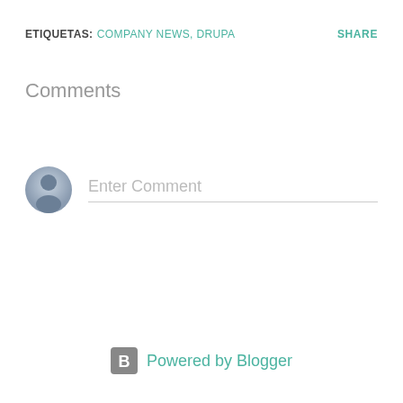ETIQUETAS: COMPANY NEWS, DRUPA   SHARE
Comments
Enter Comment
Powered by Blogger